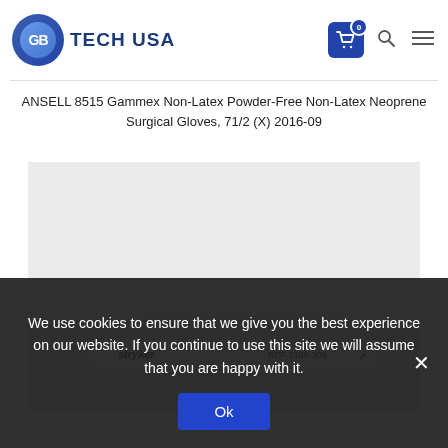[Figure (logo): GB Tech USA logo with blue circular emblem and text]
ANSELL 8515 Gammex Non-Latex Powder-Free Non-Latex Neoprene Surgical Gloves, 71/2 (X) 2016-09
[Figure (photo): Product photo showing surgical gloves packaging with Stryker branding and REF 2108-309]
We use cookies to ensure that we give you the best experience on our website. If you continue to use this site we will assume that you are happy with it.